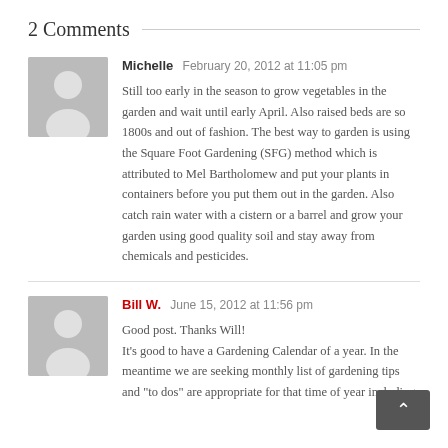2 Comments
Michelle  February 20, 2012 at 11:05 pm

Still too early in the season to grow vegetables in the garden and wait until early April. Also raised beds are so 1800s and out of fashion. The best way to garden is using the Square Foot Gardening (SFG) method which is attributed to Mel Bartholomew and put your plants in containers before you put them out in the garden. Also catch rain water with a cistern or a barrel and grow your garden using good quality soil and stay away from chemicals and pesticides.
Bill W.  June 15, 2012 at 11:56 pm

Good post. Thanks Will!
It's good to have a Gardening Calendar of a year. In the meantime we are seeking monthly list of gardening tips and "to dos" are appropriate for that time of year including